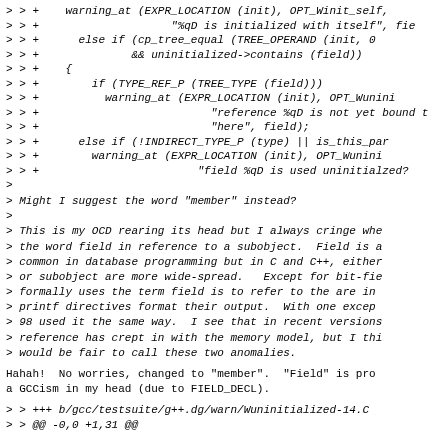> > +    warning_at (EXPR_LOCATION (init), OPT_Winit_self,
> > +                    "%qD is initialized with itself", fie
> > +      else if (cp_tree_equal (TREE_OPERAND (init, 0
> > +              && uninitialized->contains (field))
> > +    {
> > +        if (TYPE_REF_P (TREE_TYPE (field)))
> > +          warning_at (EXPR_LOCATION (init), OPT_Wunini
> > +                          "reference %qD is not yet bound t
> > +                          "here", field);
> > +      else if (!INDIRECT_TYPE_P (type) || is_this_pa
> > +        warning_at (EXPR_LOCATION (init), OPT_Wunini
> > +                        "field %qD is used uninitialzed?
>
> Might I suggest the word "member" instead?
>
> This is my OCD rearing its head but I always cringe whe
> the word field in reference to a subobject.  Field is a
> common in database programming but in C and C++, either
> or subobject are more wide-spread.   Except for bit-fie
> formally uses the term field is to refer to the are in
> printf directives format their output.  With one excep
> 98 used it the same way.  I see that in recent versions
> reference has crept in with the memory model, but I th
> would be fair to call these two anomalies.
Hahah!  No worries, changed to "member".  "Field" is pro
a GCCism in my head (due to FIELD_DECL).
> > +++ b/gcc/testsuite/g++.dg/warn/Wuninitialized-14.C
> > @@ -0,0 +1,31 @@